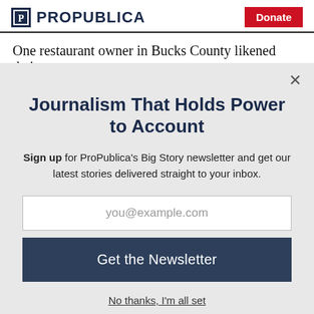ProPublica | Donate
One restaurant owner in Bucks County likened their
Journalism That Holds Power to Account
Sign up for ProPublica's Big Story newsletter and get our latest stories delivered straight to your inbox.
you@example.com
Get the Newsletter
No thanks, I'm all set
This site is protected by reCAPTCHA and the Google Privacy Policy and Terms of Service apply.